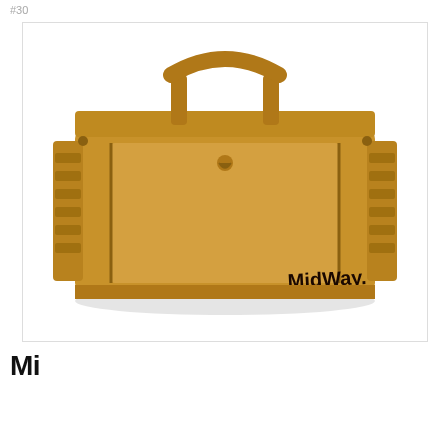#30
[Figure (photo): A tan/coyote brown tactical range bag with multiple zippered compartments, side pockets, a top handle, and a MidWay logo on the front lower right corner. The bag is photographed on a white background.]
As an Amazon Associate I earn from qualifying purchases. This website uses the only necessary cookies to ensure you get the best experience on our website. More information
Mi